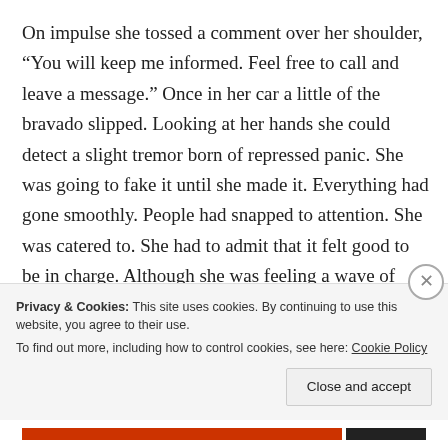On impulse she tossed a comment over her shoulder, “You will keep me informed. Feel free to call and leave a message.” Once in her car a little of the bravado slipped. Looking at her hands she could detect a slight tremor born of repressed panic. She was going to fake it until she made it. Everything had gone smoothly. People had snapped to attention. She was catered to. She had to admit that it felt good to be in charge. Although she was feeling a wave of bravado it started ebbing as she considered her next move.
Privacy & Cookies: This site uses cookies. By continuing to use this website, you agree to their use.
To find out more, including how to control cookies, see here: Cookie Policy
Close and accept